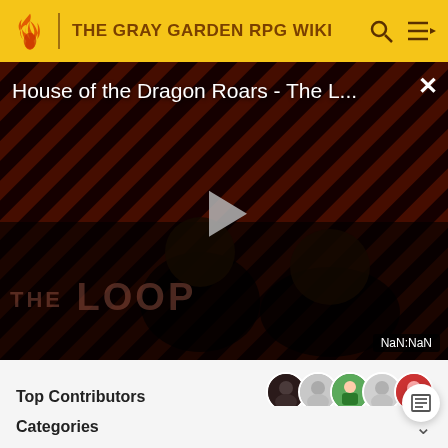THE GRAY GARDEN RPG WIKI
[Figure (screenshot): Video thumbnail for 'House of the Dragon Roars - The L...' with diagonal red and dark stripes background, a dark silhouette figure, play button, 'THE LOOP' text watermark, and NaN:NaN duration badge]
Top Contributors
Comments (35)
Categories